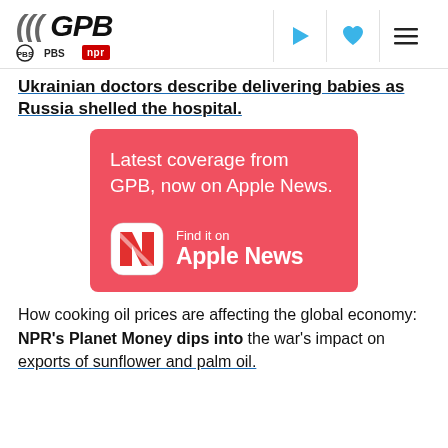GPB | PBS | NPR
Ukrainian doctors describe delivering babies as Russia shelled the hospital.
[Figure (infographic): Pink/red Apple News advertisement banner: 'Latest coverage from GPB, now on Apple News.' with Apple News logo and 'Find it on Apple News' text.]
How cooking oil prices are affecting the global economy: NPR's Planet Money dips into the war's impact on exports of sunflower and palm oil.